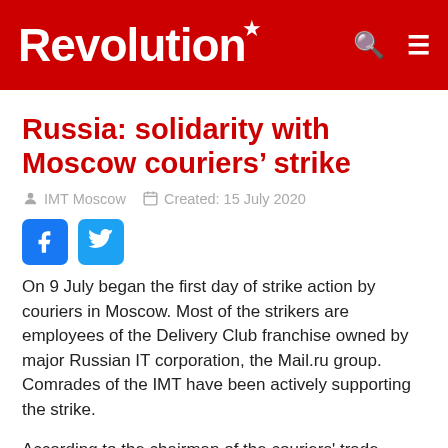Revolution
Russia: solidarity with Moscow couriers' strike
IMT Moscow   Created: 15 July 2020
[Figure (logo): Facebook and Twitter social share buttons]
On 9 July began the first day of strike action by couriers in Moscow. Most of the strikers are employees of the Delivery Club franchise owned by major Russian IT corporation, the Mail.ru group. Comrades of the IMT have been actively supporting the strike.
According to the chairman of the couriers' trade union, the idea of a strike arose for the first time back in December